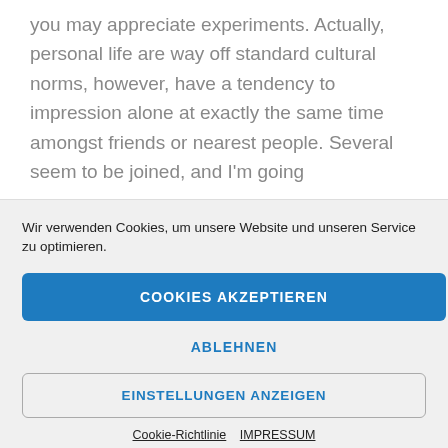you may appreciate experiments. Actually, personal life are way off standard cultural norms, however, have a tendency to impression alone at exactly the same time amongst friends or nearest people. Several seem to be joined, and I'm going
Wir verwenden Cookies, um unsere Website und unseren Service zu optimieren.
COOKIES AKZEPTIEREN
ABLEHNEN
EINSTELLUNGEN ANZEIGEN
Cookie-Richtlinie  IMPRESSUM